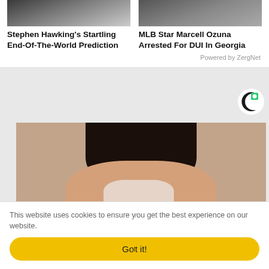[Figure (photo): Thumbnail photo of Stephen Hawking (top-left card)]
Stephen Hawking's Startling End-Of-The-World Prediction
[Figure (photo): Thumbnail photo of MLB Star Marcell Ozuna (top-right card)]
MLB Star Marcell Ozuna Arrested For DUI In Georgia
Powered by ZergNet
[Figure (logo): Circular logo with black C shape and green accent]
[Figure (photo): Close-up photo of a woman with a facial mask/pore strip on her nose]
This website uses cookies to ensure you get the best experience on our website.
Got it!